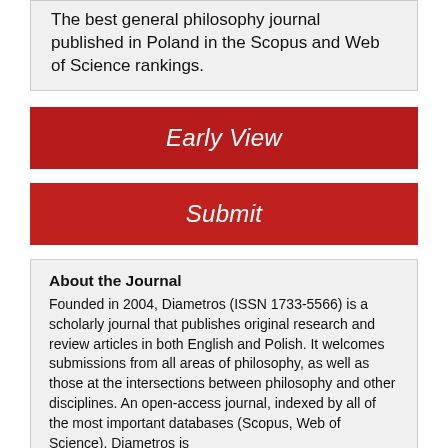The best general philosophy journal published in Poland in the Scopus and Web of Science rankings.
Early View
Submit
About the Journal
Founded in 2004, Diametros (ISSN 1733-5566) is a scholarly journal that publishes original research and review articles in both English and Polish. It welcomes submissions from all areas of philosophy, as well as those at the intersections between philosophy and other disciplines. An open-access journal, indexed by all of the most important databases (Scopus, Web of Science). Diametros is